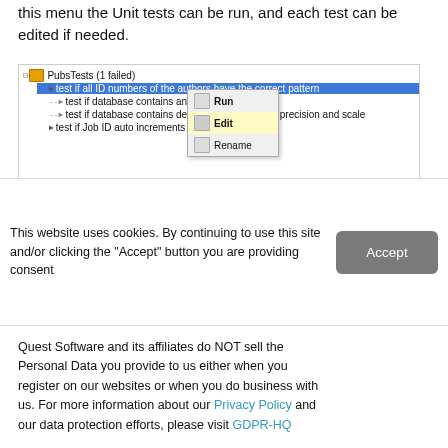this menu the Unit tests can be run, and each test can be edited if needed.
[Figure (screenshot): Screenshot of a test tree panel showing 'PubsTests (1 failed)' with multiple test items listed. A context menu is open showing options: Run, Edit (highlighted in yellow), Rename.]
This website uses cookies. By continuing to use this site and/or clicking the "Accept" button you are providing consent
Quest Software and its affiliates do NOT sell the Personal Data you provide to us either when you register on our websites or when you do business with us. For more information about our Privacy Policy and our data protection efforts, please visit GDPR-HQ